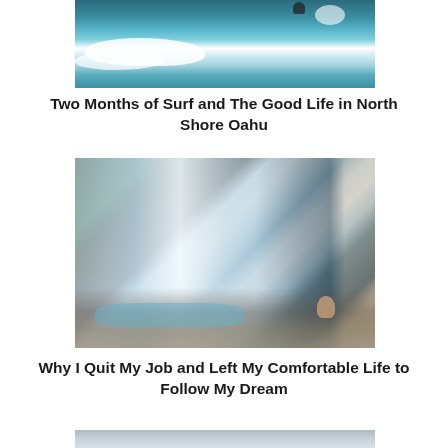[Figure (photo): Ocean waves with a surfer visible in the top right, turquoise water with white breaking waves]
Two Months of Surf and The Good Life in North Shore Oahu
[Figure (photo): A large waterfall flowing into a rocky pool, with a person sitting on rocks to the right amid lush dark green foliage]
Why I Quit My Job and Left My Comfortable Life to Follow My Dream
[Figure (photo): Partial view of a third image at the bottom, appears to be a grey/blue outdoor scene]